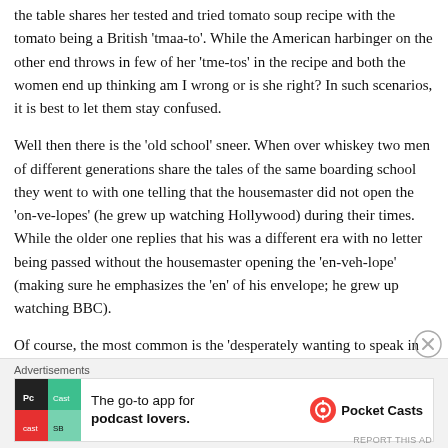the table shares her tested and tried tomato soup recipe with the tomato being a British 'tmaa-to'. While the American harbinger on the other end throws in few of her 'tme-tos' in the recipe and both the women end up thinking am I wrong or is she right? In such scenarios, it is best to let them stay confused.
Well then there is the 'old school' sneer. When over whiskey two men of different generations share the tales of the same boarding school they went to with one telling that the housemaster did not open the 'on-ve-lopes' (he grew up watching Hollywood) during their times. While the older one replies that his was a different era with no letter being passed without the housemaster opening the 'en-veh-lope' (making sure he emphasizes the 'en' of his envelope; he grew up watching BBC).
Of course, the most common is the 'desperately wanting to speak in English' sneer. So if you go to your doctor
[Figure (other): Advertisement banner for Pocket Casts app: 'The go-to app for podcast lovers.' with Pocket Casts logo]